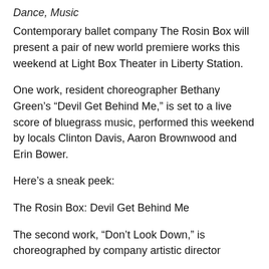Dance, Music
Contemporary ballet company The Rosin Box will present a pair of new world premiere works this weekend at Light Box Theater in Liberty Station.
One work, resident choreographer Bethany Green’s “Devil Get Behind Me,” is set to a live score of bluegrass music, performed this weekend by locals Clinton Davis, Aaron Brownwood and Erin Bower.
Here’s a sneak peek:
The Rosin Box: Devil Get Behind Me
The second work, “Don’t Look Down,” is choreographed by company artistic director